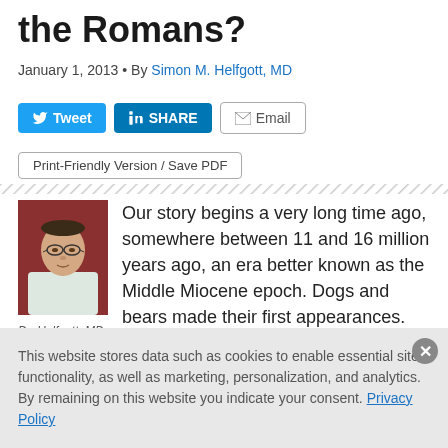the Romans?
January 1, 2013 · By Simon M. Helfgott, MD
[Figure (other): Social sharing buttons: Tweet (Twitter), Share (LinkedIn), Email]
Print-Friendly Version / Save PDF
[Figure (photo): Author photo of Dr. Helfgott, MD — a man in glasses and a bow tie, seated, red background]
Dr. Helfgott, MD
Our story begins a very long time ago, somewhere between 11 and 16 million years ago, an era better known as the Middle Miocene epoch. Dogs and bears made their first appearances. The
This website stores data such as cookies to enable essential site functionality, as well as marketing, personalization, and analytics. By remaining on this website you indicate your consent. Privacy Policy